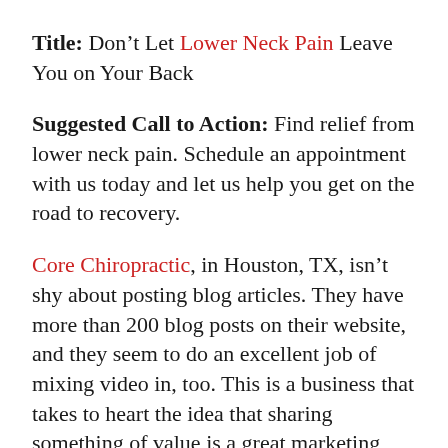Title: Don't Let Lower Neck Pain Leave You on Your Back
Suggested Call to Action: Find relief from lower neck pain. Schedule an appointment with us today and let us help you get on the road to recovery.
Core Chiropractic, in Houston, TX, isn't shy about posting blog articles. They have more than 200 blog posts on their website, and they seem to do an excellent job of mixing video in, too. This is a business that takes to heart the idea that sharing something of value is a great marketing tool. Along with their blog, they also have a full page of posture and stretching exercises, and even a clear FAQ…